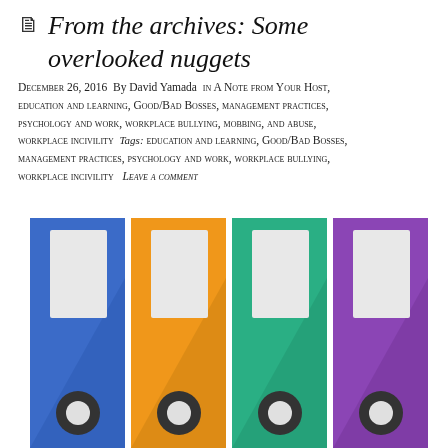From the archives: Some overlooked nuggets
December 26, 2016  By David Yamada  in A Note from Your Host, education and learning, Good/Bad Bosses, management practices, psychology and work, workplace bullying, mobbing, and abuse, workplace incivility  Tags: education and learning, Good/Bad Bosses, management practices, psychology and work, workplace bullying, workplace incivility  Leave a comment
[Figure (illustration): Four colorful binder/folder icons in a row — blue, orange, green, and purple — each with a white label area and a circular ring/binder hole at the bottom, flat design style.]